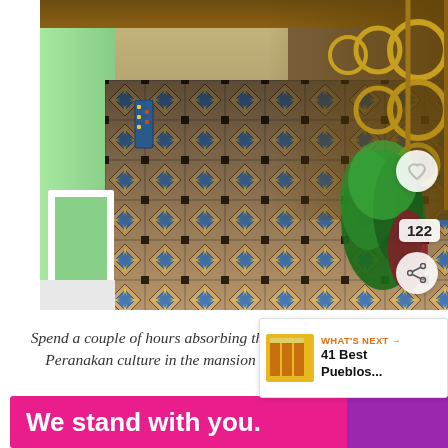[Figure (photo): Interior corridor of a Peranakan mansion showing ornate patterned tile floor with blue, yellow, and brown geometric star/diamond motifs, mint green walls on left, decorative wrought-iron gold railing on right, tropical plants, and wooden ceiling above.]
Spend a couple of hours absorbing the Peranakan culture in the mansion
WHAT'S NEXT → 41 Best Pueblos...
We stand with you.